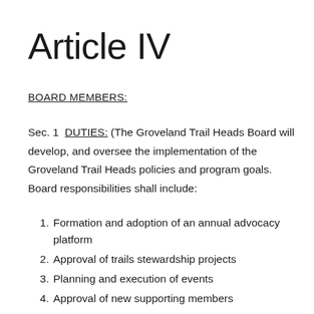Article IV
BOARD MEMBERS:
Sec. 1  DUTIES: (The Groveland Trail Heads Board will develop, and oversee the implementation of the Groveland Trail Heads policies and program goals. Board responsibilities shall include:
Formation and adoption of an annual advocacy platform
Approval of trails stewardship projects
Planning and execution of events
Approval of new supporting members